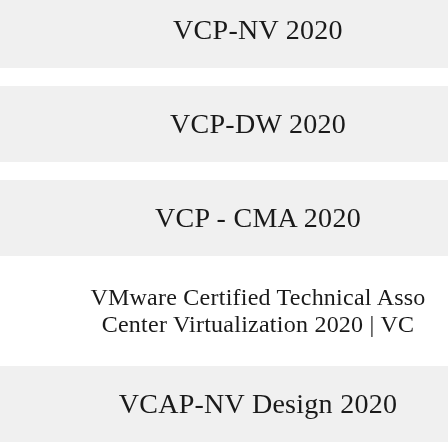VCP-NV 2020
VCP-DW 2020
VCP - CMA 2020
VMware Certified Technical Associate - Data Center Virtualization 2020 | VCTA-DCV 2020
VCAP-NV Design 2020
VCAP-NV Deploy 2020
VMware Specialist - Desktop...